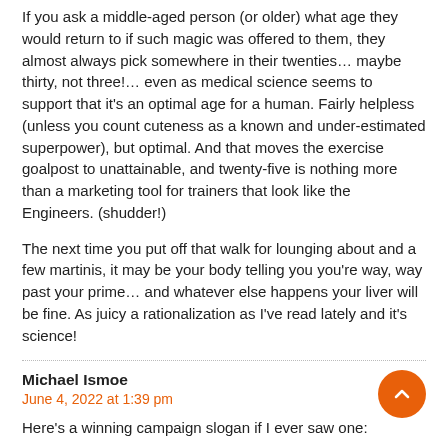If you ask a middle-aged person (or older) what age they would return to if such magic was offered to them, they almost always pick somewhere in their twenties… maybe thirty, not three!… even as medical science seems to support that it's an optimal age for a human. Fairly helpless (unless you count cuteness as a known and under-estimated superpower), but optimal. And that moves the exercise goalpost to unattainable, and twenty-five is nothing more than a marketing tool for trainers that look like the Engineers. (shudder!)
The next time you put off that walk for lounging about and a few martinis, it may be your body telling you you're way, way past your prime… and whatever else happens your liver will be fine. As juicy a rationalization as I've read lately and it's science!
Michael Ismoe
June 4, 2022 at 1:39 pm
Here's a winning campaign slogan if I ever saw one:
'I almost died,' Fetterman says as Senate campaign heats up
https://apnews.com/article/2022-midterm-elections